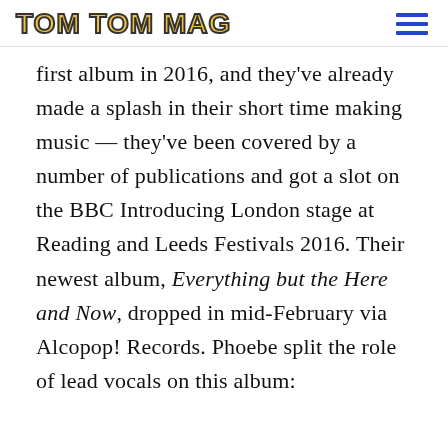TOM TOM MAG
first album in 2016, and they've already made a splash in their short time making music — they've been covered by a number of publications and got a slot on the BBC Introducing London stage at Reading and Leeds Festivals 2016. Their newest album, Everything but the Here and Now, dropped in mid-February via Alcopop! Records. Phoebe split the role of lead vocals on this album: